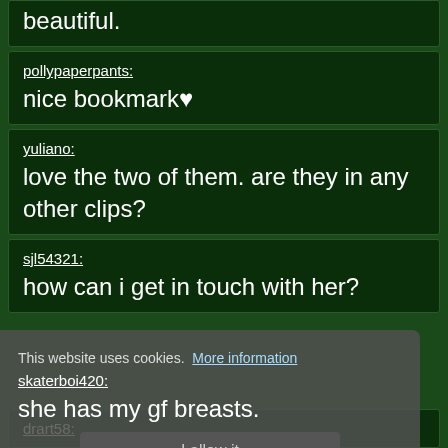beautiful.
pollypaperpants:
nice bookmark♥
yuliano:
love the two of them. are they in any other clips?
sjl54321:
how can i get in touch with her?
This website uses cookies.  More information
skaterboi420:
she has my gf breasts.
I allow it
drart58: